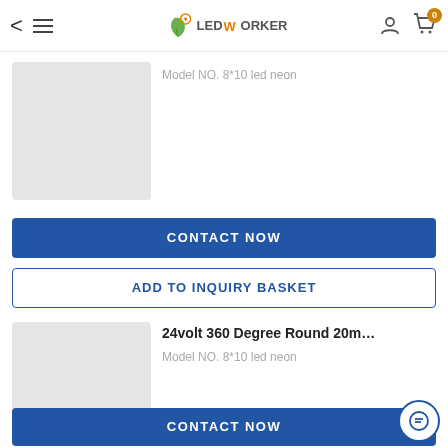LEDWorker - navigation bar with back arrow, menu, logo, user icon, cart (0)
Model NO. 8*10 led neon
[Figure (photo): Gray placeholder image for product]
CONTACT NOW
ADD TO INQUIRY BASKET
24volt 360 Degree Round 20m…
Model NO. 8*10 led neon
[Figure (photo): Gray placeholder image for second product]
CONTACT NOW